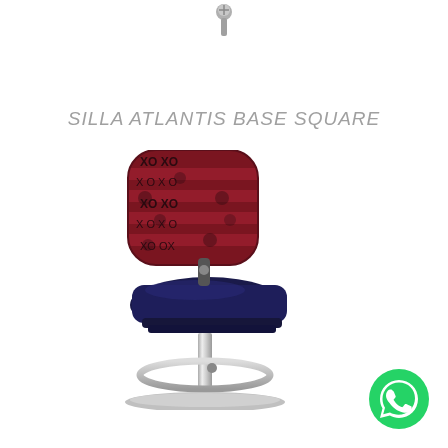[Figure (photo): Small dark object at top center of page, appears to be a mechanical part or fastener]
SILLA ATLANTIS BASE SQUARE
[Figure (photo): A gaming or bar stool chair with a patterned fabric backrest in dark red with XO patterns, dark navy blue leather seat, chrome column base with a circular footrest ring and flat circular base]
[Figure (logo): WhatsApp logo - green circle with white phone handset icon]